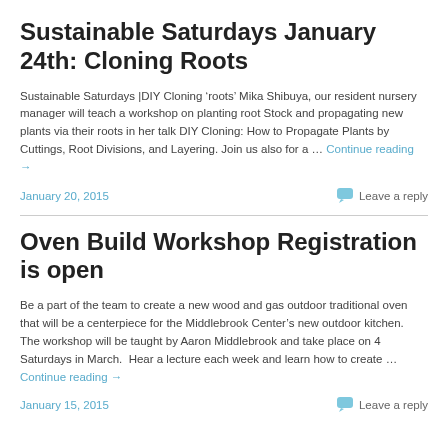Sustainable Saturdays January 24th: Cloning Roots
Sustainable Saturdays |DIY Cloning ‘roots’ Mika Shibuya, our resident nursery manager will teach a workshop on planting root Stock and propagating new plants via their roots in her talk DIY Cloning: How to Propagate Plants by Cuttings, Root Divisions, and Layering. Join us also for a … Continue reading →
January 20, 2015
Leave a reply
Oven Build Workshop Registration is open
Be a part of the team to create a new wood and gas outdoor traditional oven that will be a centerpiece for the Middlebrook Center’s new outdoor kitchen.  The workshop will be taught by Aaron Middlebrook and take place on 4 Saturdays in March.  Hear a lecture each week and learn how to create … Continue reading →
January 15, 2015
Leave a reply